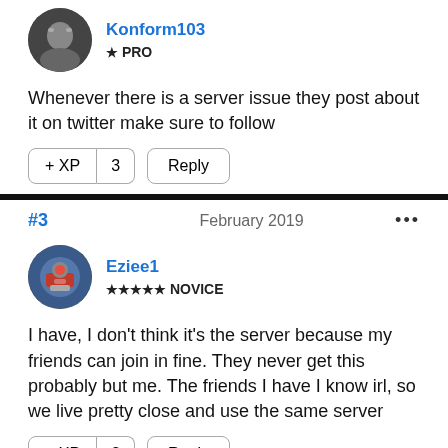Konform103
★ PRO
Whenever there is a server issue they post about it on twitter make sure to follow
+ XP  3  Reply
#3  February 2019  •••
Eziee1
★★★★★ NOVICE
I have, I don't think it's the server because my friends can join in fine. They never get this probably but me. The friends I have I know irl, so we live pretty close and use the same server
+ XP  3  Reply